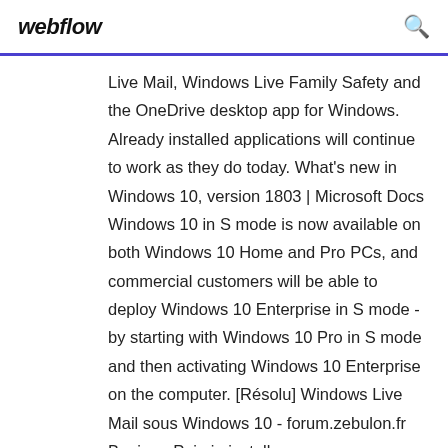webflow
Live Mail, Windows Live Family Safety and the OneDrive desktop app for Windows. Already installed applications will continue to work as they do today. What's new in Windows 10, version 1803 | Microsoft Docs Windows 10 in S mode is now available on both Windows 10 Home and Pro PCs, and commercial customers will be able to deploy Windows 10 Enterprise in S mode - by starting with Windows 10 Pro in S mode and then activating Windows 10 Enterprise on the computer. [Résolu] Windows Live Mail sous Windows 10 - forum.zebulon.fr Bonjour, Puis-je installer sur mon nouveau PC (tour Windows 10 + écran) la même messagerie